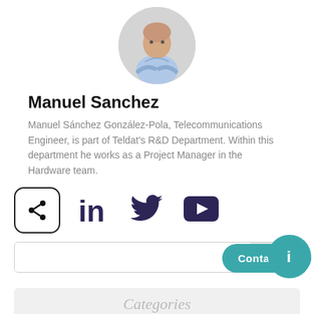[Figure (photo): Circular profile photo of Manuel Sanchez, a man in a light blue shirt with arms crossed, against a light background.]
Manuel Sanchez
Manuel Sánchez González-Pola, Telecommunications Engineer, is part of Teldat's R&D Department. Within this department he works as a Project Manager in the Hardware team.
[Figure (infographic): A share button icon (rounded square with share symbol), followed by LinkedIn, Twitter, and YouTube social media icons in dark purple/navy color.]
[Figure (infographic): Search bar with 'Sea' placeholder text, an info circle button (teal) overlapping the right side, and a 'Contact us' teal rounded button below.]
Categories